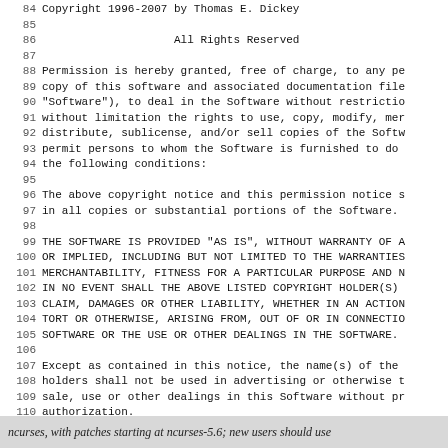84 Copyright 1996-2007 by Thomas E. Dickey
85
86                     All Rights Reserved
87
88 Permission is hereby granted, free of charge, to any pe
89 copy of this software and associated documentation file
90 "Software"), to deal in the Software without restrictio
91 without limitation the rights to use, copy, modify, mer
92 distribute, sublicense, and/or sell copies of the Softw
93 permit persons to whom the Software is furnished to do
94 the following conditions:
95
96 The above copyright notice and this permission notice s
97 in all copies or substantial portions of the Software.
98
99 THE SOFTWARE IS PROVIDED "AS IS", WITHOUT WARRANTY OF A
100 OR IMPLIED, INCLUDING BUT NOT LIMITED TO THE WARRANTIES
101 MERCHANTABILITY, FITNESS FOR A PARTICULAR PURPOSE AND N
102 IN NO EVENT SHALL THE ABOVE LISTED COPYRIGHT HOLDER(S)
103 CLAIM, DAMAGES OR OTHER LIABILITY, WHETHER IN AN ACTION
104 TORT OR OTHERWISE, ARISING FROM, OUT OF OR IN CONNECTIO
105 SOFTWARE OR THE USE OR OTHER DEALINGS IN THE SOFTWARE.
106
107 Except as contained in this notice, the name(s) of the
108 holders shall not be used in advertising or otherwise t
109 sale, use or other dealings in this Software without pr
110 authorization.
111
112 -- vile: txtmode file-encoding=utf-8
ncurses, with patches starting at ncurses-5.6; new users should use